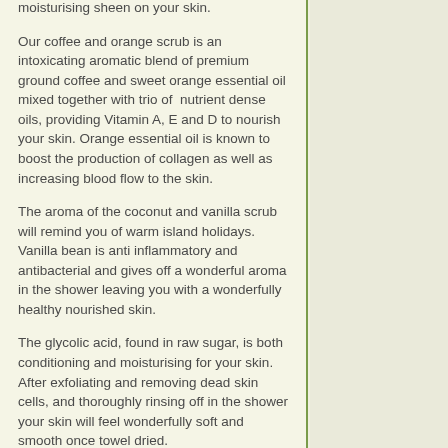moisturising sheen on your skin.
Our coffee and orange scrub is an intoxicating aromatic blend of premium ground coffee and sweet orange essential oil mixed together with trio of nutrient dense oils, providing Vitamin A, E and D to nourish your skin. Orange essential oil is known to boost the production of collagen as well as increasing blood flow to the skin.
The aroma of the coconut and vanilla scrub will remind you of warm island holidays. Vanilla bean is anti inflammatory and antibacterial and gives off a wonderful aroma in the shower leaving you with a wonderfully healthy nourished skin.
The glycolic acid, found in raw sugar, is both conditioning and moisturising for your skin. After exfoliating and removing dead skin cells, and thoroughly rinsing off in the shower your skin will feel wonderfully soft and smooth once towel dried.
All ingredients used in the scrubs are raw and natural.